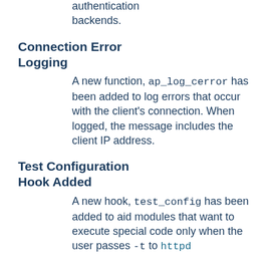authentication backends.
Connection Error Logging
A new function, ap_log_cerror has been added to log errors that occur with the client's connection. When logged, the message includes the client IP address.
Test Configuration Hook Added
A new hook, test_config has been added to aid modules that want to execute special code only when the user passes -t to httpd.